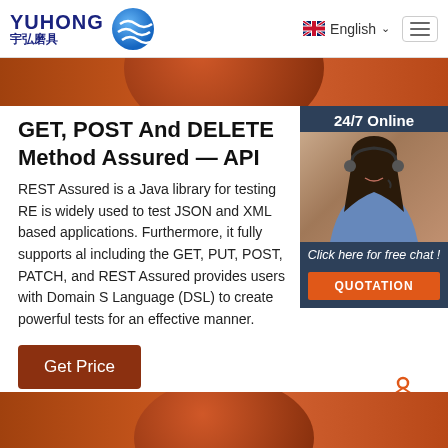[Figure (logo): YUHONG 宇弘磨具 logo with blue wave/globe icon]
[Figure (screenshot): UK flag icon with English language selector and hamburger menu]
[Figure (photo): Partial circular brown/terracotta disc or grinding wheel, top strip]
[Figure (photo): Customer service representative with headset, 24/7 Online chat widget, dark blue background, QUOTATION orange button]
GET, POST And DELETE Method Assured — API
REST Assured is a Java library for testing RE is widely used to test JSON and XML based applications. Furthermore, it fully supports al including the GET, PUT, POST, PATCH, and REST Assured provides users with Domain S Language (DSL) to create powerful tests for an effective manner.
[Figure (other): Get Price button, brown/dark red background]
[Figure (other): TOP back-to-top button with dots icon]
[Figure (photo): Partial circular brown/terracotta disc or grinding wheel, bottom strip]